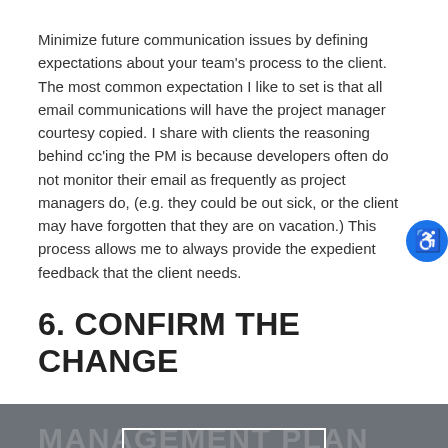Minimize future communication issues by defining expectations about your team's process to the client. The most common expectation I like to set is that all email communications will have the project manager courtesy copied. I share with clients the reasoning behind cc'ing the PM is because developers often do not monitor their email as frequently as project managers do, (e.g. they could be out sick, or the client may have forgotten that they are on vacation.) This process allows me to always provide the expedient feedback that the client needs.
6. CONFIRM THE CHANGE
MANAGEMENT PLAN
INTERESTED?
Review the change management plan and determine who